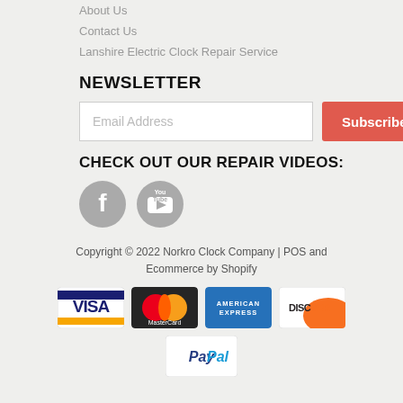About Us
Contact Us
Lanshire Electric Clock Repair Service
NEWSLETTER
Email Address [Subscribe button]
CHECK OUT OUR REPAIR VIDEOS:
[Figure (logo): Facebook and YouTube social media icons (grey circular buttons)]
Copyright © 2022 Norkro Clock Company | POS and Ecommerce by Shopify
[Figure (other): Payment method logos: Visa, MasterCard, American Express, Discover, PayPal]